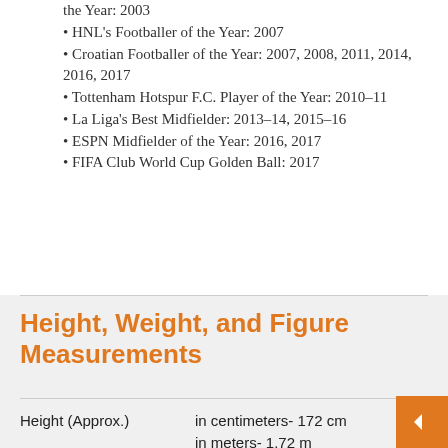the Year: 2003
HNL's Footballer of the Year: 2007
Croatian Footballer of the Year: 2007, 2008, 2011, 2014, 2016, 2017
Tottenham Hotspur F.C. Player of the Year: 2010–11
La Liga's Best Midfielder: 2013–14, 2015–16
ESPN Midfielder of the Year: 2016, 2017
FIFA Club World Cup Golden Ball: 2017
Height, Weight, and Figure Measurements
|  |  |
| --- | --- |
| Height (Approx.) | in centimeters- 172 cm
in meters- 1.72 m
in feet inches- 5’7” |